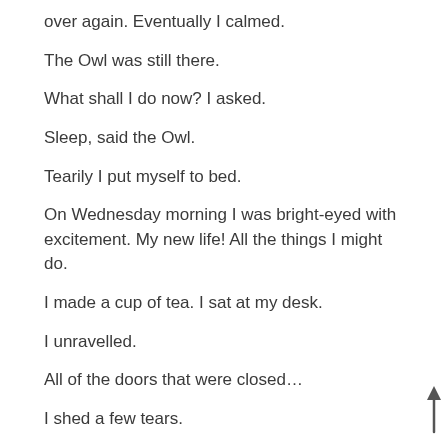over again. Eventually I calmed.
The Owl was still there.
What shall I do now? I asked.
Sleep, said the Owl.
Tearily I put myself to bed.
On Wednesday morning I was bright-eyed with excitement. My new life! All the things I might do.
I made a cup of tea. I sat at my desk.
I unravelled.
All of the doors that were closed…
I shed a few tears.
I became angry. I shouted at the walls. At the bigness of
[Figure (other): Upward pointing arrow in bottom right corner]